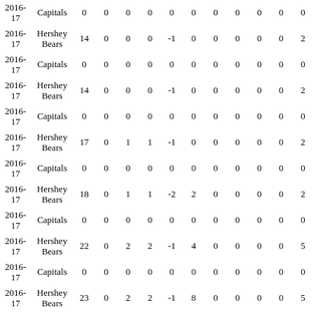| 2016-17 | Capitals | 0 | 0 | 0 | 0 | 0 | 0 | 0 | 0 | 0 | 0 | 0 |
| 2016-17 | Hershey Bears | 14 | 0 | 0 | 0 | -1 | 0 | 0 | 0 | 0 | 0 | 2 |
| 2016-17 | Capitals | 0 | 0 | 0 | 0 | 0 | 0 | 0 | 0 | 0 | 0 | 0 |
| 2016-17 | Hershey Bears | 14 | 0 | 0 | 0 | -1 | 0 | 0 | 0 | 0 | 0 | 2 |
| 2016-17 | Capitals | 0 | 0 | 0 | 0 | 0 | 0 | 0 | 0 | 0 | 0 | 0 |
| 2016-17 | Hershey Bears | 17 | 0 | 1 | 1 | -1 | 0 | 0 | 0 | 0 | 0 | 2 |
| 2016-17 | Capitals | 0 | 0 | 0 | 0 | 0 | 0 | 0 | 0 | 0 | 0 | 0 |
| 2016-17 | Hershey Bears | 18 | 0 | 1 | 1 | -2 | 2 | 0 | 0 | 0 | 0 | 2 |
| 2016-17 | Capitals | 0 | 0 | 0 | 0 | 0 | 0 | 0 | 0 | 0 | 0 | 0 |
| 2016-17 | Hershey Bears | 22 | 0 | 2 | 2 | -1 | 4 | 0 | 0 | 0 | 0 | 5 |
| 2016-17 | Capitals | 0 | 0 | 0 | 0 | 0 | 0 | 0 | 0 | 0 | 0 | 0 |
| 2016-17 | Hershey Bears | 23 | 0 | 2 | 2 | -1 | 8 | 0 | 0 | 0 | 0 | 5 |